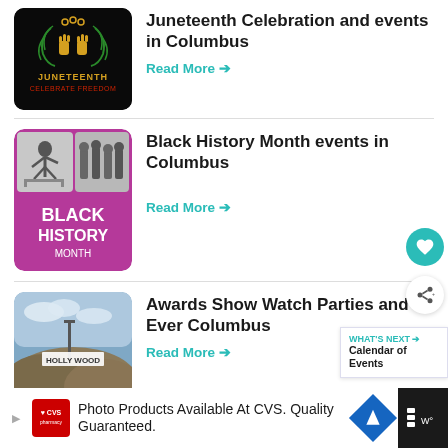[Figure (illustration): Juneteenth Celebrate Freedom logo with hands holding chains and laurel wreath on black background]
Juneteenth Celebration and events in Columbus
Read More →
[Figure (illustration): Black History Month collage with athlete hurdling and military soldiers on magenta background]
Black History Month events in Columbus
Read More →
[Figure (photo): Hollywood sign on a hillside]
Awards Show Watch Parties and Ever Columbus
Read More →
WHAT'S NEXT → Calendar of Events
Photo Products Available At CVS. Quality Guaranteed.